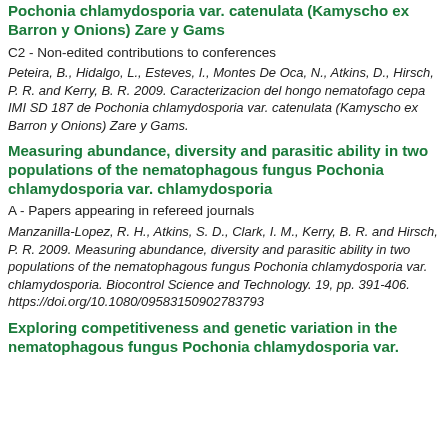Pochonia chlamydosporia var. catenulata (Kamyscho ex Barron y Onions) Zare y Gams
C2 - Non-edited contributions to conferences
Peteira, B., Hidalgo, L., Esteves, I., Montes De Oca, N., Atkins, D., Hirsch, P. R. and Kerry, B. R. 2009. Caracterizacion del hongo nematofago cepa IMI SD 187 de Pochonia chlamydosporia var. catenulata (Kamyscho ex Barron y Onions) Zare y Gams.
Measuring abundance, diversity and parasitic ability in two populations of the nematophagous fungus Pochonia chlamydosporia var. chlamydosporia
A - Papers appearing in refereed journals
Manzanilla-Lopez, R. H., Atkins, S. D., Clark, I. M., Kerry, B. R. and Hirsch, P. R. 2009. Measuring abundance, diversity and parasitic ability in two populations of the nematophagous fungus Pochonia chlamydosporia var. chlamydosporia. Biocontrol Science and Technology. 19, pp. 391-406. https://doi.org/10.1080/09583150902783793
Exploring competitiveness and genetic variation in the nematophagous fungus Pochonia chlamydosporia var.